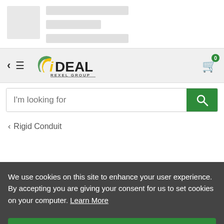[Figure (screenshot): Skeleton loading placeholder with grey image box and three grey lines representing loading content]
[Figure (logo): iDEAL Rexel Group logo with navigation bar including back arrow, hamburger menu, search bar, and cart icon with badge 0]
I'm looking for
< Rigid Conduit
We use cookies on this site to enhance your user experience. By accepting you are giving your consent for us to set cookies on your computer. Learn More
I accept